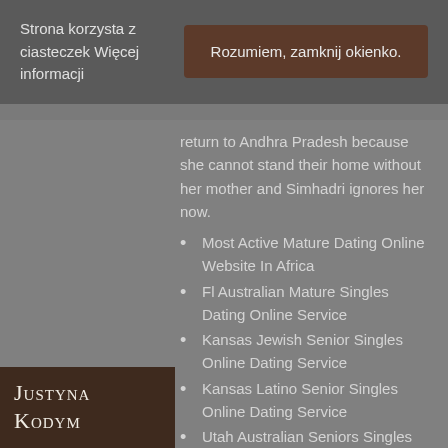Strona korzysta z ciasteczek Więcej informacji
Rozumiem, zamknij okienko.
return to Andhra Pradesh because she cannot stand their home without her mother and Simhadri ignores her now.
Most Active Mature Dating Online Website In Africa
Fl Australian Mature Singles Dating Online Service
Kansas Jewish Senior Singles Online Dating Service
Kansas Latino Senior Singles Online Dating Service
Utah Australian Seniors Singles Online Dating Site
Germany British Seniors Singles Dating Online Site
London Muslim Senior Singles Dating…
Justyna Kodym